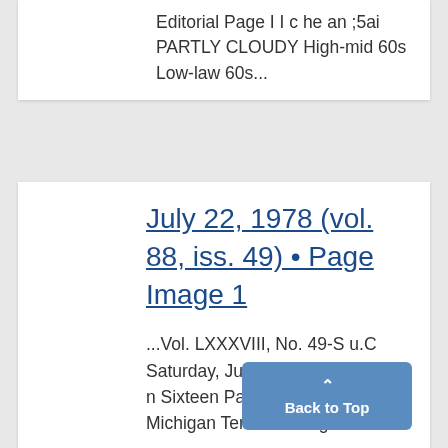Editorial Page I I c he an ;5ai PARTLY CLOUDY High-mid 60s Low-law 60s...
July 22, 1978 (vol. 88, iss. 49) • Page Image 1
...Vol. LXXXVIII, No. 49-S u.C Saturday, July 22, 1978 ,m iC -i 9 n Sixteen Pages Ann Arbor, Michigan Ten Cents e gGNP...